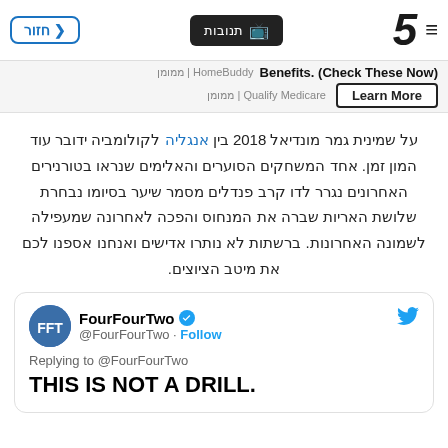חזור | תנובות | Channel 5 logo
[Figure (screenshot): Ad banner with text: Benefits. (Check These Now) | HomeBuddy | ממומן — Learn More button — ממומן | Qualify Medicare]
על שמינית גמר מונדיאל 2018 בין אנגליה לקולומביה ידובר עוד המון זמן. אחד המשחקים הסוערים והאלימים שנראו בטורנירים האחרונים נגרר לדו קרב פנדלים מסמר שיער בסיומו נבחרת שלושת האריות שברה את המנחוס והפכה לאחרונה שמעפילה לשמונה האחרונות. ברשתות לא נותרו אדישים ואנחנו אספנו לכם את מיטב הציוצים.
[Figure (screenshot): Embedded tweet from @FourFourTwo with verified badge and Follow button. Replying to @FourFourTwo. Tweet text: THIS IS NOT A DRILL.]